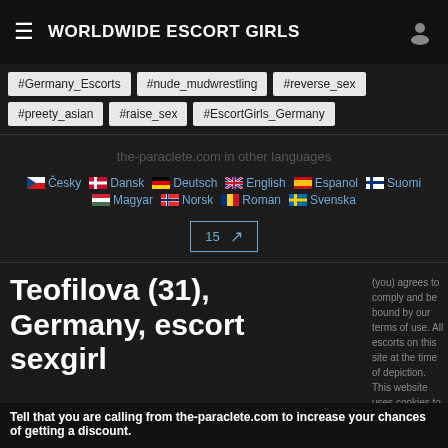WORLDWIDE ESCORT GIRLS
#Germany_Escorts
#nude_mudwrestling
#reverse_sex
#preety_asian
#raise_sex
#EscortGirls_Germany
the-paraclete.com in other languages
Česky Dansk Deutsch English Espanol Suomi Magyar Norsk Roman Svenska
Teofilova (31), Germany, escort sexgirl
Tell that you are calling from the-paraclete.com to increase your chances of getting a discount.
Abuse / Contact Us | 18 USC 2257 |